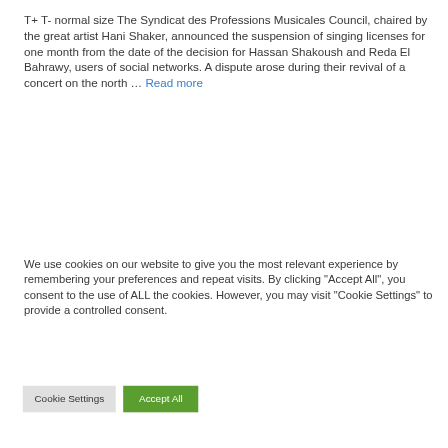T+ T- normal size The Syndicat des Professions Musicales Council, chaired by the great artist Hani Shaker, announced the suspension of singing licenses for one month from the date of the decision for Hassan Shakoush and Reda El Bahrawy, users of social networks. A dispute arose during their revival of a concert on the north … Read more
We use cookies on our website to give you the most relevant experience by remembering your preferences and repeat visits. By clicking "Accept All", you consent to the use of ALL the cookies. However, you may visit "Cookie Settings" to provide a controlled consent.